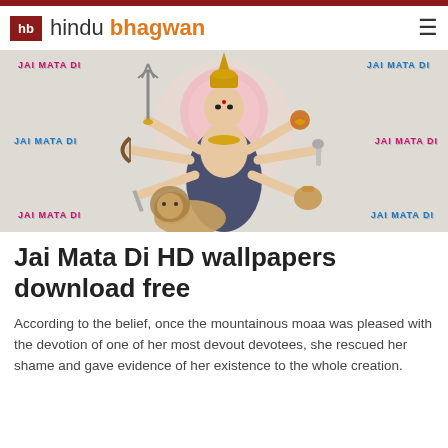hindu bhagwan
[Figure (illustration): Illustration of Hindu goddess Durga (Jai Mata Di) with multiple arms holding weapons, standing with a lion, with 'JAI MATA DI' text overlaid in multiple corners in pink/blue colors]
Jai Mata Di HD wallpapers download free
According to the belief, once the mountainous moaa was pleased with the devotion of one of her most devout devotees, she rescued her shame and gave evidence of her existence to the whole creation.